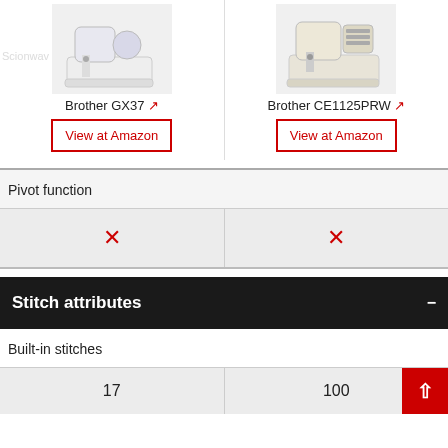[Figure (photo): Brother GX37 sewing machine product image]
Brother GX37 [external link]
View at Amazon
[Figure (photo): Brother CE1125PRW sewing machine product image]
Brother CE1125PRW [external link]
View at Amazon
|  | Brother GX37 | Brother CE1125PRW |
| --- | --- | --- |
| Pivot function | ✗ | ✗ |
Stitch attributes
|  | Brother GX37 | Brother CE1125PRW |
| --- | --- | --- |
| Built-in stitches | 17 | 100 |